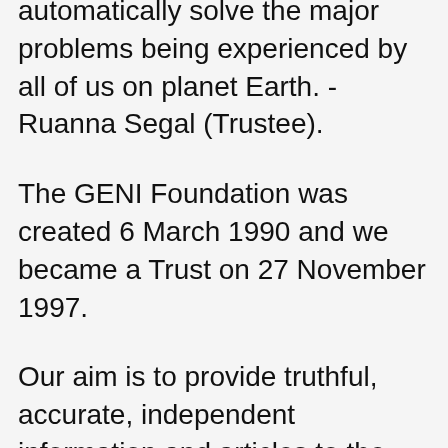automatically solve the major problems being experienced by all of us on planet Earth. - Ruanna Segal (Trustee).
The GENI Foundation was created 6 March 1990 and we became a Trust on 27 November 1997.
Our aim is to provide truthful, accurate, independent information and articles to the general public.
We are a non-profit and volunteer organisation conducting research and education focused on compelling and technologically feasible global energy